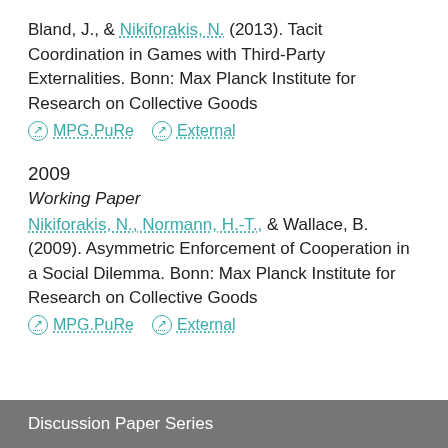Bland, J., & Nikiforakis, N. (2013). Tacit Coordination in Games with Third-Party Externalities. Bonn: Max Planck Institute for Research on Collective Goods
MPG.PuRe   External
2009
Working Paper
Nikiforakis, N., Normann, H.-T., & Wallace, B. (2009). Asymmetric Enforcement of Cooperation in a Social Dilemma. Bonn: Max Planck Institute for Research on Collective Goods
MPG.PuRe   External
Discussion Paper Series